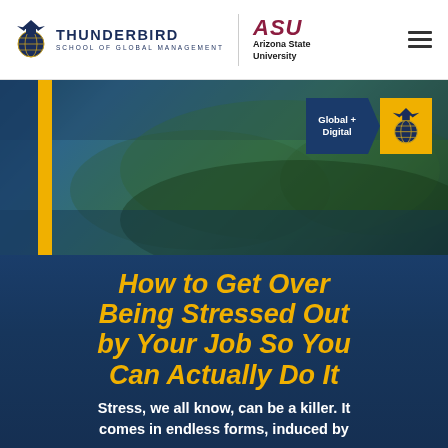[Figure (logo): Thunderbird School of Global Management and Arizona State University logos with hamburger menu]
[Figure (photo): Hero banner with aerial landscape photo, blue and gold vertical bars on left, Global + Digital badge with Thunderbird icon on top right]
How to Get Over Being Stressed Out by Your Job So You Can Actually Do It
Stress, we all know, can be a killer. It comes in endless forms, induced by